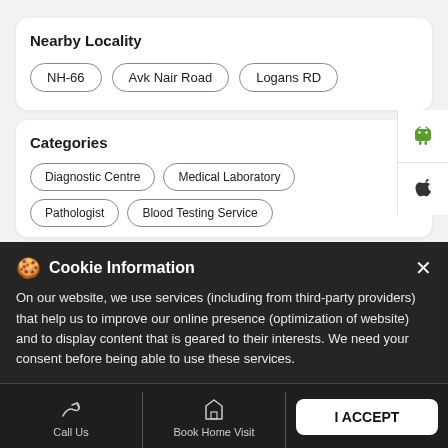Nearby Locality
NH-66
Avk Nair Road
Logans RD
Categories
Diagnostic Centre
Medical Laboratory
Pathologist
Blood Testing Service
Cookie Information
On our website, we use services (including from third-party providers) that help us to improve our online presence (optimization of website) and to display content that is geared to their interests. We need your consent before being able to use these services.
Call Us
Book Home Visit
Directions
I ACCEPT